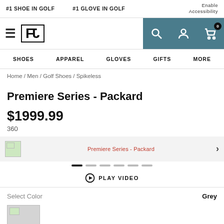#1 SHOE IN GOLF  #1 GLOVE IN GOLF  Enable Accessibility
[Figure (logo): FootJoy FJ logo with hamburger menu and header icons (search, account, cart with 0 badge) on teal/dark background]
SHOES  APPAREL  GLOVES  GIFTS  MORE
Home / Men / Golf Shoes / Spikeless
Premiere Series - Packard
$199.99
360
[Figure (screenshot): Carousel strip with broken image thumbnail, red text 'Premiere Series - Packard', and right arrow on light grey background]
PLAY VIDEO
Select Color  Grey
[Figure (photo): Grey color swatch with broken image icon in top-left corner]